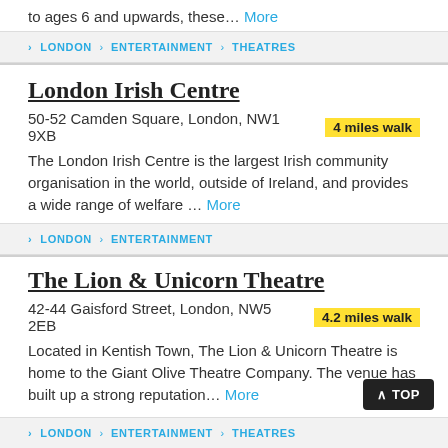to ages 6 and upwards, these... More
> LONDON > ENTERTAINMENT > THEATRES
London Irish Centre
50-52 Camden Square, London, NW1 9XB  4 miles walk
The London Irish Centre is the largest Irish community organisation in the world, outside of Ireland, and provides a wide range of welfare ... More
> LONDON > ENTERTAINMENT
The Lion & Unicorn Theatre
42-44 Gaisford Street, London, NW5 2EB  4.2 miles walk
Located in Kentish Town, The Lion & Unicorn Theatre is home to the Giant Olive Theatre Company. The venue has built up a strong reputation... More
> LONDON > ENTERTAINMENT > THEATRES